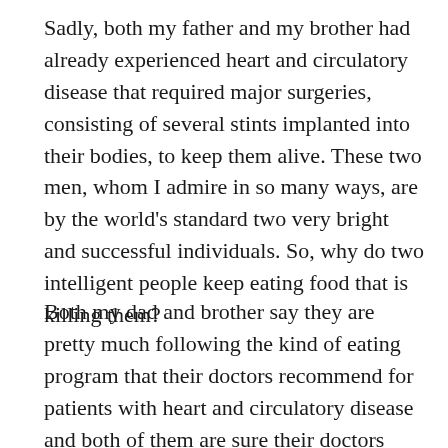Sadly, both my father and my brother had already experienced heart and circulatory disease that required major surgeries, consisting of several stints implanted into their bodies, to keep them alive.  These two men, whom I admire in so many ways, are by the world's standard two very bright and successful individuals. So, why do two intelligent people keep eating food that is killing them?
Both my dad and brother say they are pretty much following the kind of eating program that their doctors recommend for patients with heart and circulatory disease and both of them are sure their doctors would tell them the right thing to do- after all their doctors knows